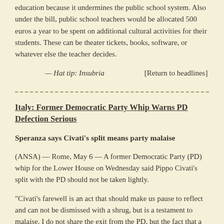education because it undermines the public school system. Also under the bill, public school teachers would be allocated 500 euros a year to be spent on additional cultural activities for their students. These can be theater tickets, books, software, or whatever else the teacher decides.
— Hat tip: Insubria        [Return to headlines]
Italy: Former Democratic Party Whip Warns PD Defection Serious
Speranza says Civati's split means party malaise
(ANSA) — Rome, May 6 — A former Democratic Party (PD) whip for the Lower House on Wednesday said Pippo Civati's split with the PD should not be taken lightly.
“Civati’s farewell is an act that should make us pause to reflect and can not be dismissed with a shrug, but is a testament to malaise. I do not share the exit from the PD, but the fact that a person who received 400,000 votes in the primary is leaving must make one reflect,” said